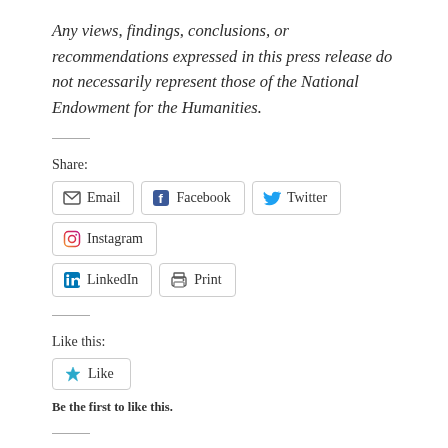Any views, findings, conclusions, or recommendations expressed in this press release do not necessarily represent those of the National Endowment for the Humanities.
Share:
Email | Facebook | Twitter | Instagram | LinkedIn | Print
Like this:
Like
Be the first to like this.
Posted on June 17, 2015